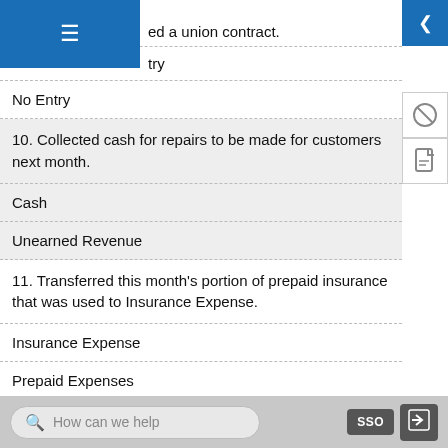ed a union contract.
try
No Entry
10. Collected cash for repairs to be made for customers next month.
Cash
Unearned Revenue
11. Transferred this month's portion of prepaid insurance that was used to Insurance Expense.
Insurance Expense
Prepaid Expenses
How can we help   SSO